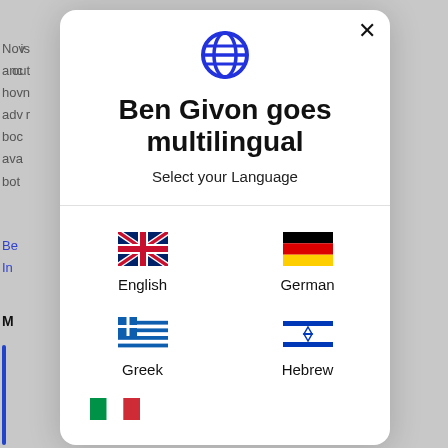[Figure (screenshot): A modal dialog overlay on a webpage showing 'Ben Givon goes multilingual' with a globe icon and language selection options: English (UK flag), German (German flag), Greek (Greek flag), Hebrew (Israeli flag), and partially visible Italian flag at the bottom.]
Ben Givon goes multilingual
Select your Language
English
German
Greek
Hebrew